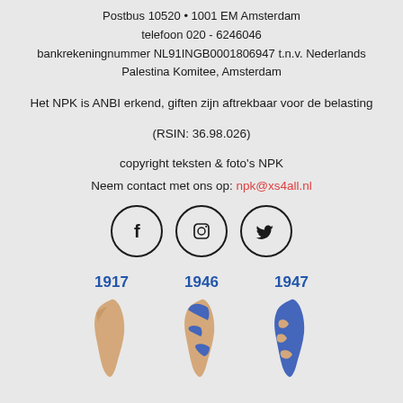Postbus 10520 • 1001 EM Amsterdam
telefoon 020 - 6246046
bankrekeningnummer NL91INGB0001806947 t.n.v. Nederlands Palestina Komitee, Amsterdam
Het NPK is ANBI erkend, giften zijn aftrekbaar voor de belasting (RSIN: 36.98.026)
copyright teksten & foto's NPK
Neem contact met ons op: npk@xs4all.nl
[Figure (illustration): Three social media icons in circles: Facebook (f), Instagram (camera), Twitter (bird)]
[Figure (illustration): Three maps of Palestine labeled 1917, 1946, 1947 showing territorial changes in tan and blue colors]